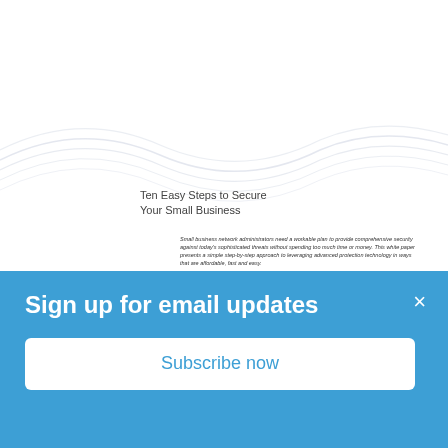[Figure (illustration): Decorative wave/curve lines as background design element on white document page]
Ten Easy Steps to Secure Your Small Business
Small business network administrators need a workable plan to provide comprehensive security against today's sophisticated threats without spending too much time or money. This white paper presents a simple step-by-step approach to leveraging advanced protection technology in ways that are affordable, fast and easy.
CONTENTS
Step 1: Layer Your Security    2
Step 2: Secure Your Gateway    2
Step 3: Keep it Simple    3
Step 4: Keep It Affordable    3
Step 5: Get Rid of Bottlenecks    3
Sign up for email updates
Subscribe now